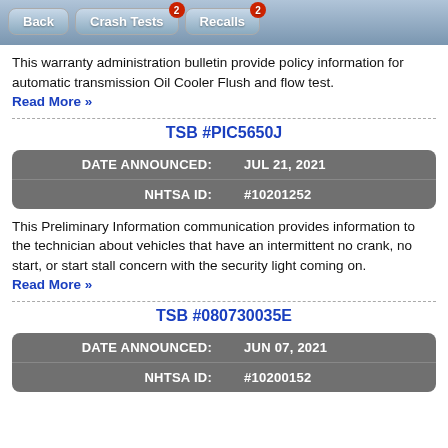Back | Crash Tests (2) | Recalls (2)
This warranty administration bulletin provide policy information for automatic transmission Oil Cooler Flush and flow test.
Read More »
TSB #PIC5650J
|  |  |
| --- | --- |
| DATE ANNOUNCED: | JUL 21, 2021 |
| NHTSA ID: | #10201252 |
This Preliminary Information communication provides information to the technician about vehicles that have an intermittent no crank, no start, or start stall concern with the security light coming on.
Read More »
TSB #080730035E
|  |  |
| --- | --- |
| DATE ANNOUNCED: | JUN 07, 2021 |
| NHTSA ID: | #10200152 |